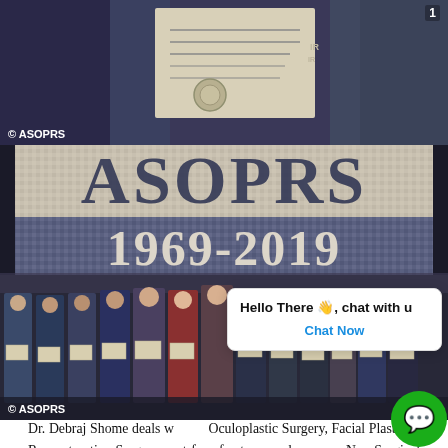[Figure (photo): Person holding a certificate/award at what appears to be ASOPRS event. Copyright watermark 'ASOPRS' visible at bottom left.]
[Figure (photo): Group photo of award recipients standing in front of ASOPRS 1969-2019 anniversary banner mosaic, each holding certificates. Copyright watermark 'ASOPRS' visible at bottom left.]
[Figure (screenshot): Chat popup overlay showing 'Hello There wave emoji, chat with u' and 'Chat Now' button in blue, with WeChat icon in bottom right.]
Dr. Debraj Shome deals with Oculoplastic Surgery, Facial Plastic & Reconstructive Surgery post face fractures and cancers, Non-Surgical Facial Rejuvenation, Rhinoplasty (Nose Job / Nose Surgery), Face lifts, Mid-Face lifts, Mini Facelift, Rhytidectomy